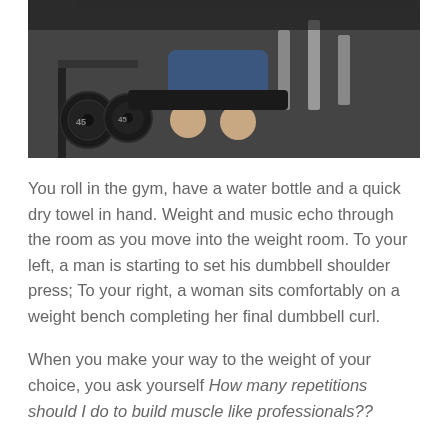[Figure (photo): Person at gym weight machine, view from above showing weight plates and gym equipment]
You roll in the gym, have a water bottle and a quick dry towel in hand. Weight and music echo through the room as you move into the weight room. To your left, a man is starting to set his dumbbell shoulder press; To your right, a woman sits comfortably on a weight bench completing her final dumbbell curl.
When you make your way to the weight of your choice, you ask yourself How many repetitions should I do to build muscle like professionals??
Generally, whether you do strength training or toning with light weights, you should aim for 3 to 20 repetitions per set. However, how much you repeat will depend on your